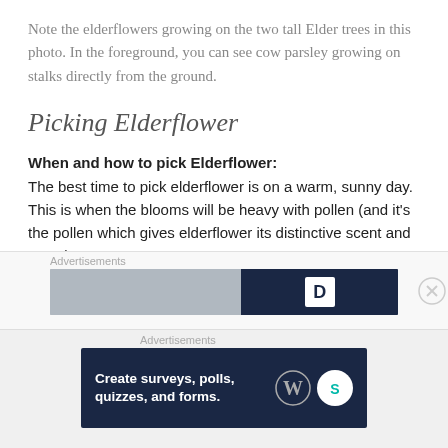Note the elderflowers growing on the two tall Elder trees in this photo. In the foreground, you can see cow parsley growing on stalks directly from the ground.
Picking Elderflower
When and how to pick Elderflower:
The best time to pick elderflower is on a warm, sunny day. This is when the blooms will be heavy with pollen (and it's the pollen which gives elderflower its distinctive scent and taste.)
[Figure (other): Advertisements banner with mid ad area showing partial banner image]
[Figure (other): Advertisements banner at bottom: Create surveys, polls, quizzes, and forms. WordPress and SurveyMonkey logos.]